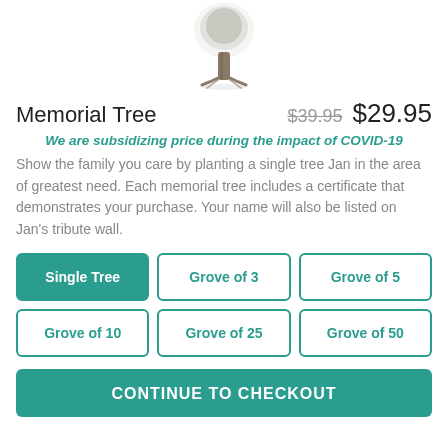[Figure (illustration): Illustration of a single tree (trunk and canopy) centered at top of page]
Memorial Tree   $39.95  $29.95
We are subsidizing price during the impact of COVID-19
Show the family you care by planting a single tree Jan in the area of greatest need. Each memorial tree includes a certificate that demonstrates your purchase. Your name will also be listed on Jan's tribute wall.
Single Tree
Grove of 3
Grove of 5
Grove of 10
Grove of 25
Grove of 50
CONTINUE TO CHECKOUT